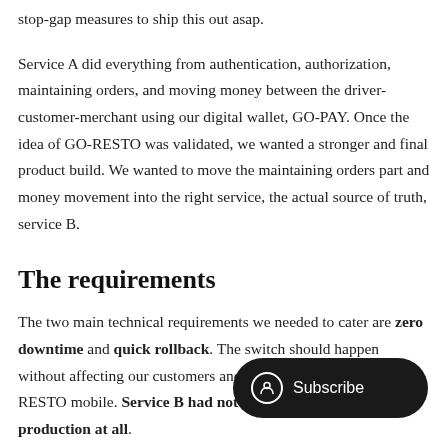stop-gap measures to ship this out asap.
Service A did everything from authentication, authorization, maintaining orders, and moving money between the driver-customer-merchant using our digital wallet, GO-PAY. Once the idea of GO-RESTO was validated, we wanted a stronger and final product build. We wanted to move the maintaining orders part and money movement into the right service, the actual source of truth, service B.
The requirements
The two main technical requirements we needed to cater are zero downtime and quick rollback. The switch should happen without affecting our customers and merchants with the GO-RESTO mobile. Service B had not been consumed in production at all.